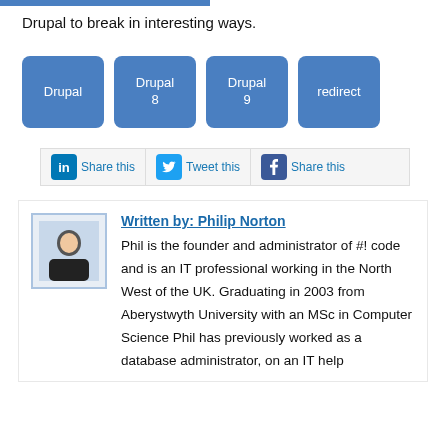Drupal to break in interesting ways.
Drupal
Drupal 8
Drupal 9
redirect
[Figure (other): Social sharing bar with LinkedIn 'Share this', Twitter 'Tweet this', and Facebook 'Share this' buttons]
Written by: Philip Norton
Phil is the founder and administrator of #! code and is an IT professional working in the North West of the UK. Graduating in 2003 from Aberystwyth University with an MSc in Computer Science Phil has previously worked as a database administrator, on an IT help